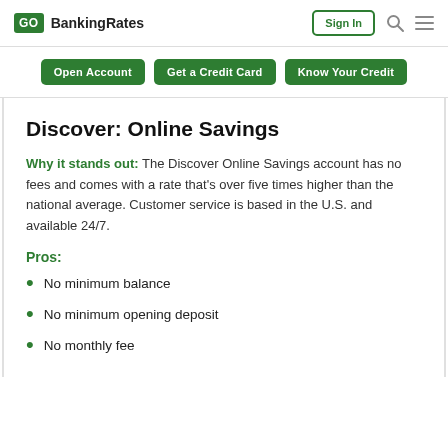GOBankingRates | Sign In
Open Account | Get a Credit Card | Know Your Credit
Discover: Online Savings
Why it stands out: The Discover Online Savings account has no fees and comes with a rate that's over five times higher than the national average. Customer service is based in the U.S. and available 24/7.
Pros:
No minimum balance
No minimum opening deposit
No monthly fee